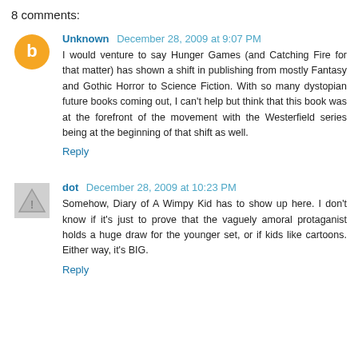8 comments:
Unknown December 28, 2009 at 9:07 PM
I would venture to say Hunger Games (and Catching Fire for that matter) has shown a shift in publishing from mostly Fantasy and Gothic Horror to Science Fiction. With so many dystopian future books coming out, I can't help but think that this book was at the forefront of the movement with the Westerfield series being at the beginning of that shift as well.
Reply
dot December 28, 2009 at 10:23 PM
Somehow, Diary of A Wimpy Kid has to show up here. I don't know if it's just to prove that the vaguely amoral protaganist holds a huge draw for the younger set, or if kids like cartoons. Either way, it's BIG.
Reply